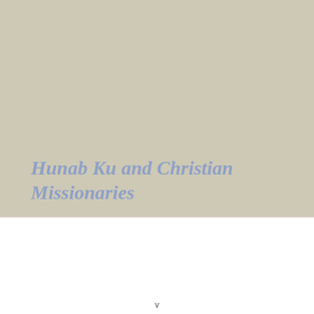Hunab Ku and Christian Missionaries
The conception of Hunab Ku as the ultimate deity
v